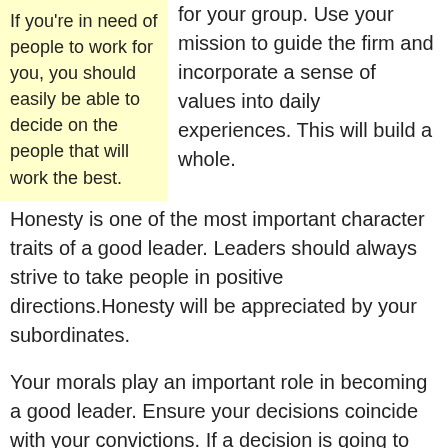If you're in need of people to work for you, you should easily be able to decide on the people that will work the best.
for your group. Use your mission to guide the firm and incorporate a sense of values into daily experiences. This will build a whole.
Honesty is one of the most important character traits of a good leader. Leaders should always strive to take people in positive directions.Honesty will be appreciated by your subordinates.
Your morals play an important role in becoming a good leader. Ensure your decisions coincide with your convictions. If a decision is going to make you feel badly, don't do it. Although there will be people with a different set of morals out there, you have to be sure you're doing the right thing.